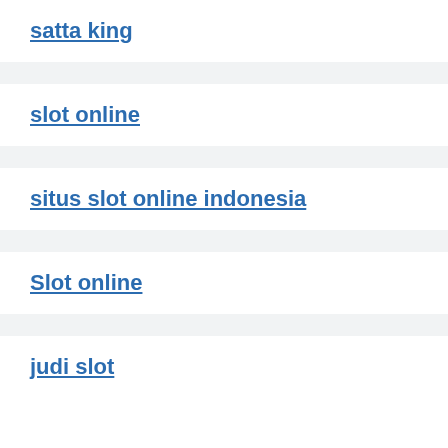satta king
slot online
situs slot online indonesia
Slot online
judi slot